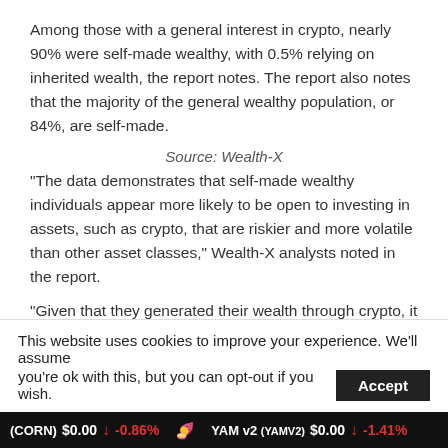Among those with a general interest in crypto, nearly 90% were self-made wealthy, with 0.5% relying on inherited wealth, the report notes. The report also notes that the majority of the general wealthy population, or 84%, are self-made.
Source: Wealth-X
“The data demonstrates that self-made wealthy individuals appear more likely to be open to investing in assets, such as crypto, that are riskier and more volatile than other asset classes,” Wealth-X analysts noted in the report.
“Given that they generated their wealth through crypto, it is no surprise that inheritance hardly plays a
This website uses cookies to improve your experience. We’ll assume you’re ok with this, but you can opt-out if you wish. Accept
(CORN) $0.00 ↓ -0.86%   YAM v2 (YAMV2) $0.00 ↓ -1.41%